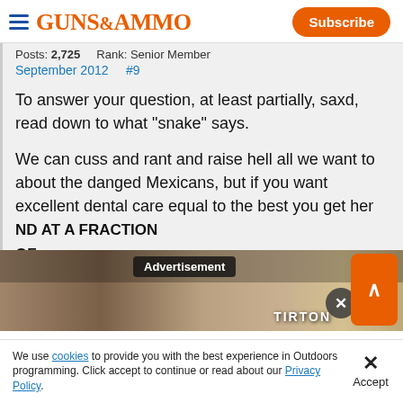GUNS&AMMO
Posts: 2,725    Rank: Senior Member
September 2012    #9
To answer your question, at least partially, saxd, read down to what "snake" says.
We can cuss and rant and raise hell all we want to about the danged Mexicans, but if you want excellent dental care equal to the best you get here AND AT A FRACTION OF
[Figure (screenshot): Advertisement overlay with dark label 'Advertisement', outdoor/hunting scene background, close (X) button, and orange expand button]
We use cookies to provide you with the best experience in Outdoors programming. Click accept to continue or read about our Privacy Policy.